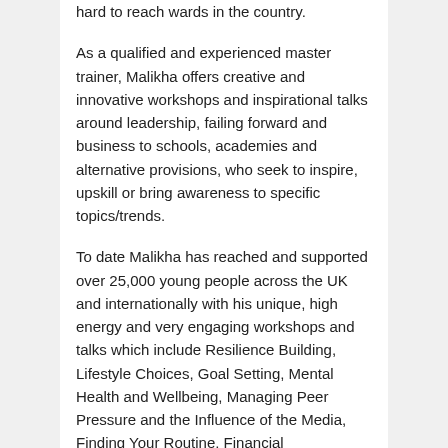hard to reach wards in the country.
As a qualified and experienced master trainer, Malikha offers creative and innovative workshops and inspirational talks around leadership, failing forward and business to schools, academies and alternative provisions, who seek to inspire, upskill or bring awareness to specific topics/trends.
To date Malikha has reached and supported over 25,000 young people across the UK and internationally with his unique, high energy and very engaging workshops and talks which include Resilience Building, Lifestyle Choices, Goal Setting, Mental Health and Wellbeing, Managing Peer Pressure and the Influence of the Media, Finding Your Routine, Financial Literacy, Relationships and Sex Education...